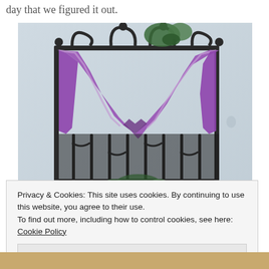day that we figured it out.
[Figure (photo): A wrought iron window grill/balcony with a purple/violet fabric draped and gathered across it, with plants visible above, against a light blue-grey wall.]
Privacy & Cookies: This site uses cookies. By continuing to use this website, you agree to their use.
To find out more, including how to control cookies, see here:
Cookie Policy
Close and accept